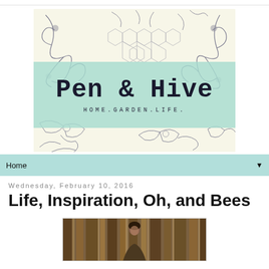[Figure (logo): Pen & Hive blog logo with botanical illustration background, mint green banner, title 'Pen & Hive' in typewriter font, subtitle 'HOME.GARDEN.LIFE.']
Home ▼
Wednesday, February 10, 2016
Life, Inspiration, Oh, and Bees
[Figure (photo): Photo of a woman standing outdoors among trees]